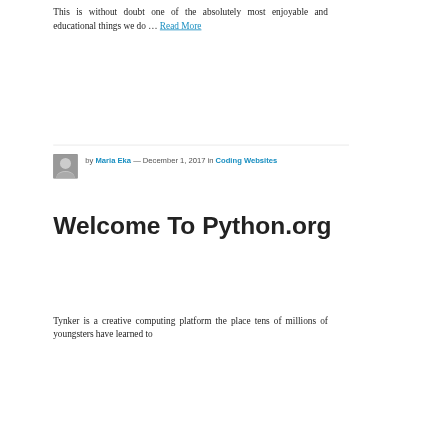This is without doubt one of the absolutely most enjoyable and educational things we do … Read More
by Maria Eka — December 1, 2017 in Coding Websites
Welcome To Python.org
Tynker is a creative computing platform the place tens of millions of youngsters have learned to